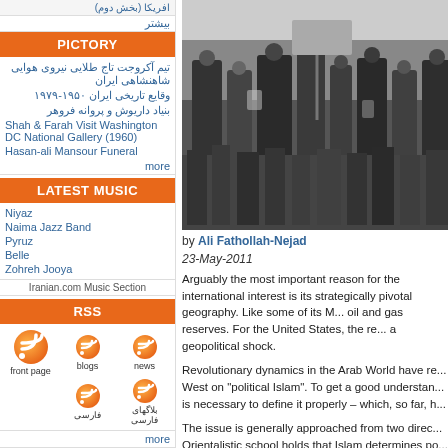افریقا (بخش دوم)
بیشتر
PICTORY
تیم آکروجت تاج طلایی نیروی هوایی شاهنشاهی ایران
وقایع تاریخی ایران ۱۹۵۰-۱۹۷۹
بنیاد داریوش و پروانه فروهر
Shah & Farah Visit Washington DC National Gallery (1960)
Hasan-ali Mansour Funeral
more
LATEST MUSIC
Niyaz
Naima Jazz Band
Pyruz
Belle
Zohreh Jooya
Iranian.com Music Section
RSS
[Figure (illustration): RSS feed icons for front page, blogs, news, فارسی, بلاگهای فارسی]
more
SEARCH
[Figure (photo): Black and white photograph of a crowd/protest scene with people marching]
by Ali Fathollah-Nejad
23-May-2011
Arguably the most important reason for the international interest is its strategically pivotal geography. Like some of its Middle Eastern neighbors, oil and gas reserves. For the United States, the re... a geopolitical shock.
Revolutionary dynamics in the Arab World have re... West on "political Islam". To get a good understanding... is necessary to define it properly – which, so far, h...
The issue is generally approached from two directions: Orientalistic school holds that Islam determines politics... Orientalists argue that the entire Muslim world is m... even downright resistant to change. Samuel Hunt... civilizations" is a prominent expression of such thi... emphasising religion as the single most important... fundamentalists say so too.